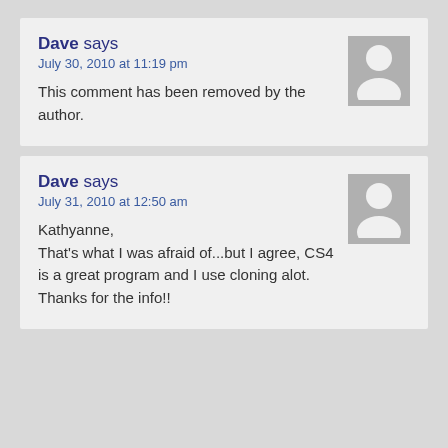Dave says
July 30, 2010 at 11:19 pm
This comment has been removed by the author.
Dave says
July 31, 2010 at 12:50 am
Kathyanne,
That's what I was afraid of...but I agree, CS4 is a great program and I use cloning alot. Thanks for the info!!